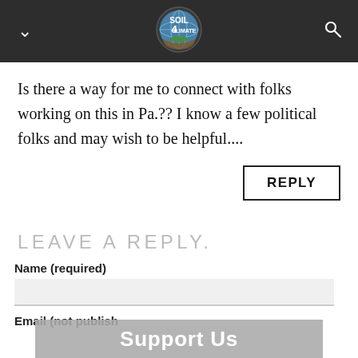Soil 4 Climate logo header with navigation
Is there a way for me to connect with folks working on this in Pa.?? I know a few political folks and may wish to be helpful....
REPLY
LEAVE A REPLY.
Name (required)
Email (not published)
Support Us